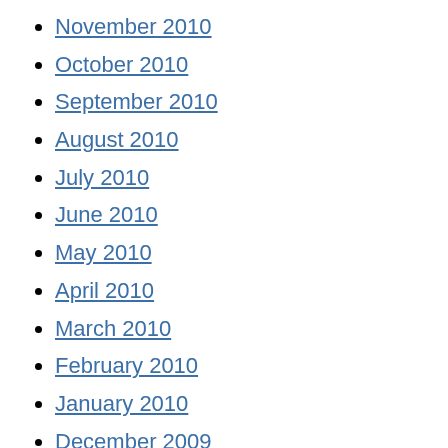November 2010
October 2010
September 2010
August 2010
July 2010
June 2010
May 2010
April 2010
March 2010
February 2010
January 2010
December 2009
November 2009
October 2009
September 2009
August 2009
July 2009